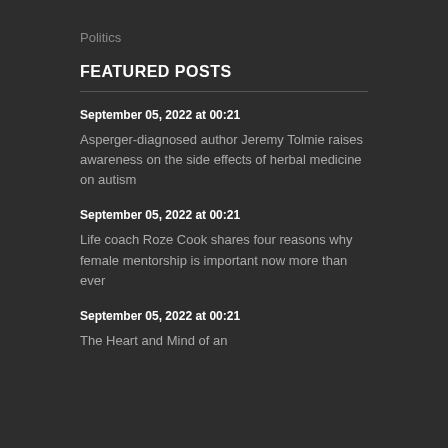Politics
FEATURED POSTS
September 05, 2022 at 00:21
Asperger-diagnosed author Jeremy Tolmie raises awareness on the side effects of herbal medicine on autism
September 05, 2022 at 00:21
Life coach Roze Cook shares four reasons why female mentorship is important now more than ever
September 05, 2022 at 00:21
The Heart and Mind of an